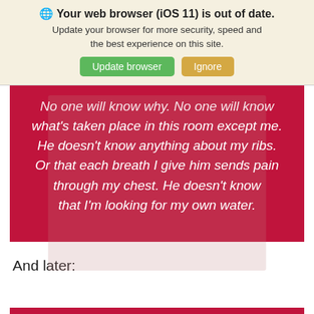🌐 Your web browser (iOS 11) is out of date. Update your browser for more security, speed and the best experience on this site.
[Figure (screenshot): Browser update banner with green 'Update browser' button and tan 'Ignore' button]
No one will know why. No one will know what's taken place in this room except me. He doesn't know anything about my ribs. Or that each breath I give him sends pain through my chest. He doesn't know that I'm looking for my own water.
And later: